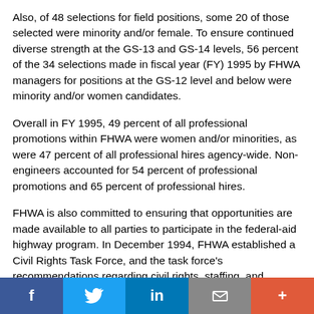Also, of 48 selections for field positions, some 20 of those selected were minority and/or female. To ensure continued diverse strength at the GS-13 and GS-14 levels, 56 percent of the 34 selections made in fiscal year (FY) 1995 by FHWA managers for positions at the GS-12 level and below were minority and/or women candidates.
Overall in FY 1995, 49 percent of all professional promotions within FHWA were women and/or minorities, as were 47 percent of all professional hires agency-wide. Non-engineers accounted for 54 percent of professional promotions and 65 percent of professional hires.
FHWA is also committed to ensuring that opportunities are made available to all parties to participate in the federal-aid highway program. In December 1994, FHWA established a Civil Rights Task Force, and the task force's recommendations regarding civil rights, staffing, and technical assistance are now being implemented. In another
[Figure (infographic): Social media sharing bar with Facebook, Twitter, LinkedIn, Email, and Plus buttons]